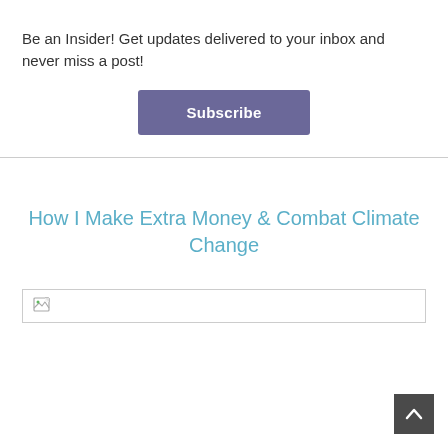Be an Insider! Get updates delivered to your inbox and never miss a post!
Subscribe
How I Make Extra Money & Combat Climate Change
[Figure (photo): Broken/unloaded image placeholder with small image icon on left]
[Figure (other): Back-to-top button with upward chevron arrow, dark grey background, bottom-right corner]